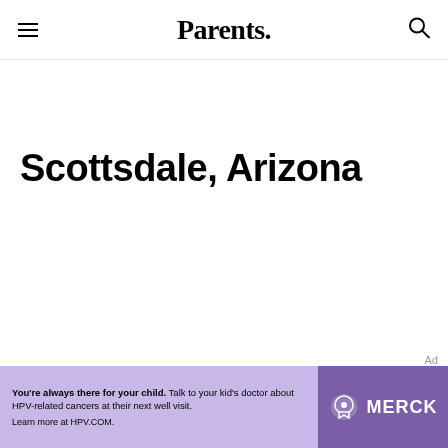Parents.
Scottsdale, Arizona
Ad
[Figure (other): Merck advertisement banner with purple background. Text reads: 'You're always there for your child. Talk to your kid's doctor about HPV-related cancers at their next well visit. Learn more at HPV.COM.' Merck logo on right side with dark purple background.]